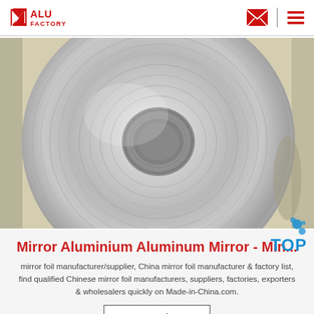ALU FACTORY
[Figure (photo): A large roll of mirror aluminum/aluminium foil viewed from above, showing concentric metallic silver layers with a central hollow core, resting on a light-colored surface.]
Mirror Aluminium Aluminum Mirror - Min...
mirror foil manufacturer/supplier, China mirror foil manufacturer & factory list, find qualified Chinese mirror foil manufacturers, suppliers, factories, exporters & wholesalers quickly on Made-in-China.com.
Get Price